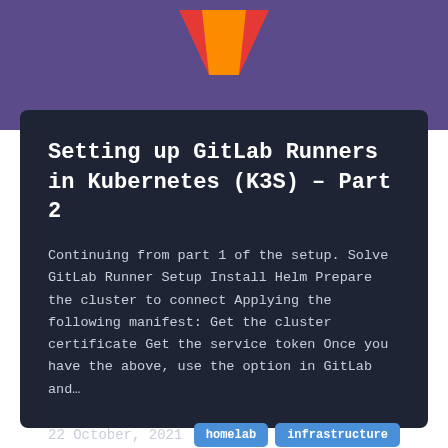[Figure (logo): Vuetify/Vue.js logo — orange and red chevron/V shape on purple background]
Setting up GitLab Runners in Kubernetes (K3S) – Part 2
Continuing from part 1 of the setup. Solve GitLab Runner Setup Install Helm Prepare the cluster to connect Applying the following manifest: Get the cluster certificate Get the service token Once you have the above, use the option in GitLab and…
22 October, 2021
homelab  infrastructure  kubernetes  dev ops  gitlab  ci cd  esxi